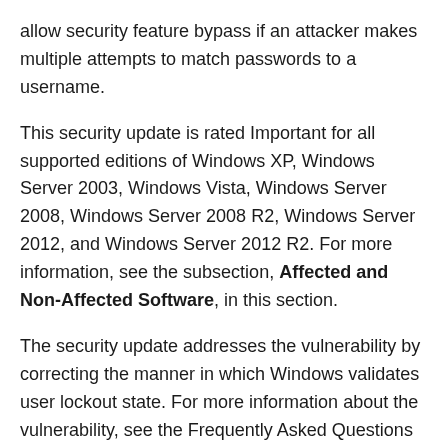allow security feature bypass if an attacker makes multiple attempts to match passwords to a username.
This security update is rated Important for all supported editions of Windows XP, Windows Server 2003, Windows Vista, Windows Server 2008, Windows Server 2008 R2, Windows Server 2012, and Windows Server 2012 R2. For more information, see the subsection, Affected and Non-Affected Software, in this section.
The security update addresses the vulnerability by correcting the manner in which Windows validates user lockout state. For more information about the vulnerability, see the Frequently Asked Questions (FAQ) subsection for the specific vulnerability entry under the next section, Vulnerability Information.
Recommendation. Most customers have automatic updating enabled and will not need to take any action